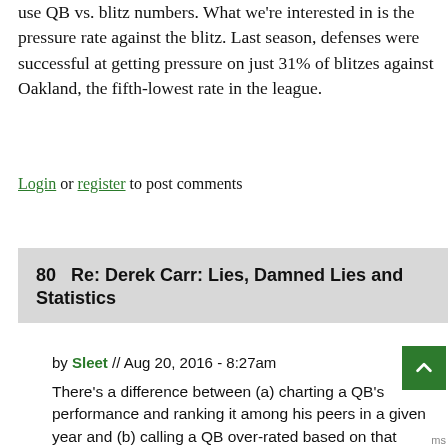use QB vs. blitz numbers. What we're interested in is the pressure rate against the blitz. Last season, defenses were successful at getting pressure on just 31% of blitzes against Oakland, the fifth-lowest rate in the league.
Login or register to post comments
80   Re: Derek Carr: Lies, Damned Lies and Statistics
by Sleet // Aug 20, 2016 - 8:27am
There's a difference between (a) charting a QB's performance and ranking it among his peers in a given year and (b) calling a QB over-rated based on that ranking. The fact that